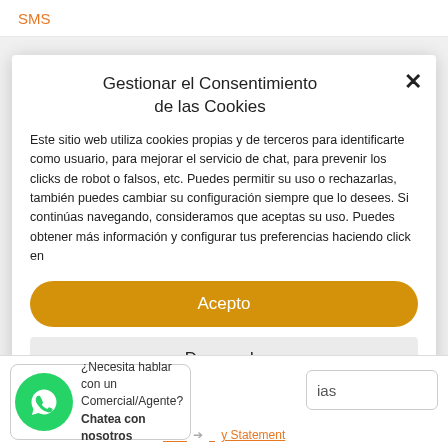SMS
Gestionar el Consentimiento de las Cookies
Este sitio web utiliza cookies propias y de terceros para identificarte como usuario, para mejorar el servicio de chat, para prevenir los clicks de robot o falsos, etc. Puedes permitir su uso o rechazarlas, también puedes cambiar su configuración siempre que lo desees. Si continúas navegando, consideramos que aceptas su uso. Puedes obtener más información y configurar tus preferencias haciendo click en
Acepto
Denegado
¿Necesita hablar con un Comercial/Agente? Chatea con nosotros
ias
y Statement